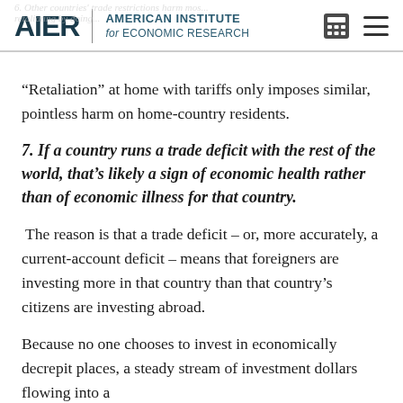AIER | AMERICAN INSTITUTE for ECONOMIC RESEARCH
“Retaliation” at home with tariffs only imposes similar, pointless harm on home-country residents.
7. If a country runs a trade deficit with the rest of the world, that’s likely a sign of economic health rather than of economic illness for that country.
The reason is that a trade deficit – or, more accurately, a current-account deficit – means that foreigners are investing more in that country than that country’s citizens are investing abroad.
Because no one chooses to invest in economically decrepit places, a steady stream of investment dollars flowing into a